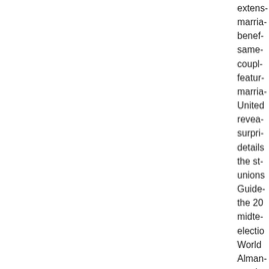extens- marria- benef- same- coupl- featur- marria- United revea- surpri- details the st- unions Guide- the 20 midte- electio World Alman- provic user-f- state- guide electio